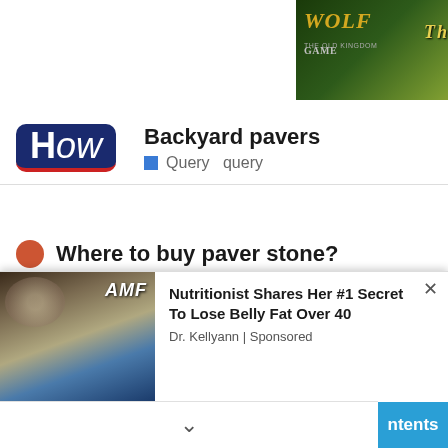[Figure (screenshot): Wolf Game banner advertisement with wolves in a field and text 'THE HUNT IS ON!']
[Figure (logo): HowStuffWorks 'How' logo — dark blue rounded rectangle with red underline]
Backyard pavers
Query  query
Where to buy paver stone?
Easy to install No cuts
Creates a soft, natural look.
Ideal for entrances and terraces.
[Figure (screenshot): Advertisement overlay: Nutritionist Shares Her #1 Secret To Lose Belly Fat Over 40 — Dr. Kellyann | Sponsored]
ntents